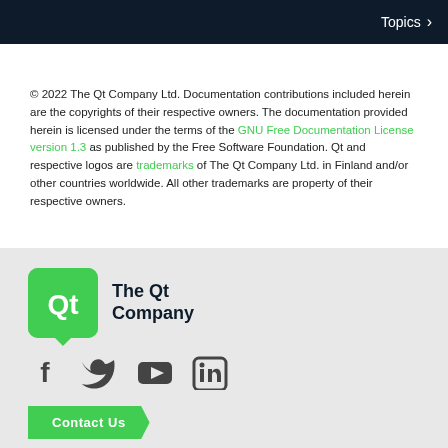Topics >
© 2022 The Qt Company Ltd. Documentation contributions included herein are the copyrights of their respective owners. The documentation provided herein is licensed under the terms of the GNU Free Documentation License version 1.3 as published by the Free Software Foundation. Qt and respective logos are trademarks of The Qt Company Ltd. in Finland and/or other countries worldwide. All other trademarks are property of their respective owners.
[Figure (logo): The Qt Company logo: green rounded square with Qt text and 'The Qt Company' name beside it]
[Figure (infographic): Social media icons: Facebook, Twitter, YouTube, LinkedIn in dark gray]
Contact Us
Company
Licensing
About Us
Terms & Conditions